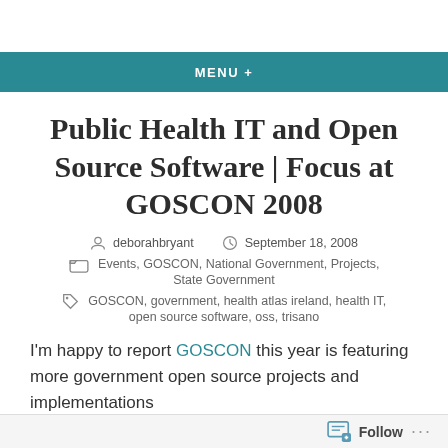MENU +
Public Health IT and Open Source Software | Focus at GOSCON 2008
deborahbryant   September 18, 2008
Events, GOSCON, National Government, Projects, State Government
GOSCON, government, health atlas ireland, health IT, open source software, oss, trisano
I'm happy to report GOSCON this year is featuring more government open source projects and implementations